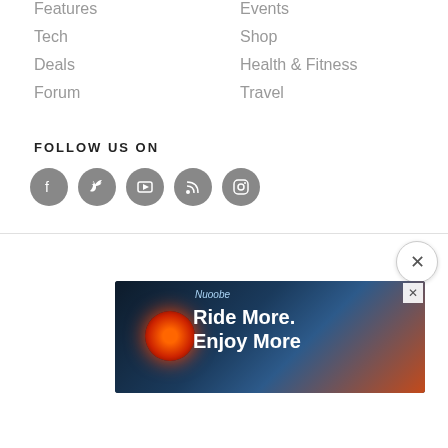Features
Shop
Tech
Health & Fitness
Deals
Travel
Forum
FOLLOW US ON
[Figure (illustration): Five social media icons in dark gray circles: Facebook, Twitter, YouTube, RSS, Instagram]
OUR WEBSITES
[Figure (logo): Three website logos: off-road.cc, ebiketips, dealclincher]
GET IN TOUCH
Edito...
Tech,...
Fanta...
[Figure (screenshot): Advertisement overlay showing a cycling light product with text 'Ride More. Enjoy More' with a close button]